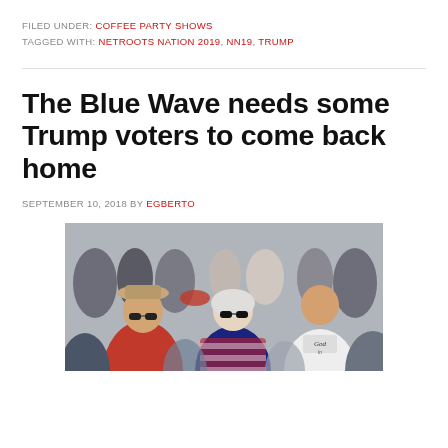FILED UNDER: COFFEE PARTY SHOWS
TAGGED WITH: NETROOTS NATION 2019, NN19, TRUMP
The Blue Wave needs some Trump voters to come back home
SEPTEMBER 10, 2018 BY EGBERTO
[Figure (photo): Crowd of people at a political rally, including a man in a red Trump shirt and cowboy hat with sunglasses, and a woman in an American flag jacket with sunglasses]